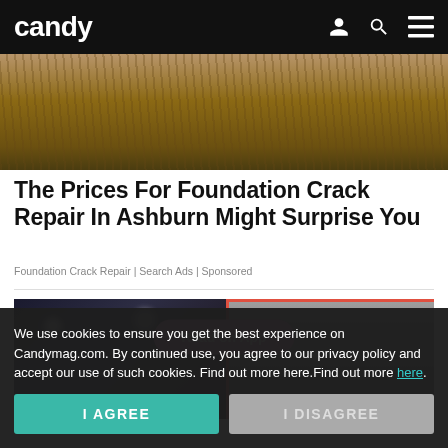candy
[Figure (photo): Photo of person digging in soil/dirt, outdoor construction or landscaping scene]
The Prices For Foundation Crack Repair In Ashburn Might Surprise You
Foundation Crack Repair | Search Ads | Sponsored
[Figure (photo): Split image: left side shows a woman in a dark indoor setting; right side shows a person with short hair against an orange/red background with a grey border]
We use cookies to ensure you get the best experience on Candymag.com. By continued use, you agree to our privacy policy and accept our use of such cookies. Find out more here.Find out more here.
I AGREE
I DISAGREE